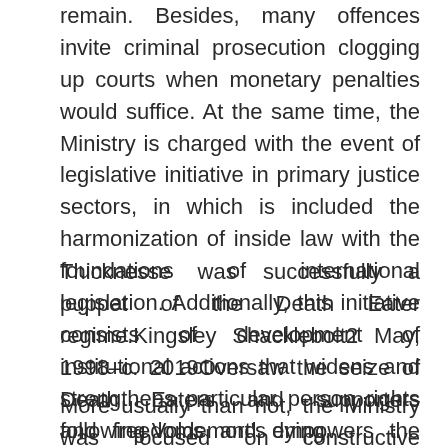remain. Besides, many offences invite criminal prosecution clogging up courts when monetary penalties would suffice. At the same time, the Ministry is charged with the event of legislative initiative in primary justice sectors, in which is included the harmonization of inside law with the foundations of international legislation. Additionally, this initiative consists of development of institutional actions that widens and strengthens particular person rights and freedoms and empowers the function of the democratic institutions normally.
Thicknesse was successfully a puppet of the Death Eater regime.Kingsley Shacklebolt2 May, 1998–c. 2019Oversaw the seize of Death Eaters and supporters following Voldemort's dying.
More usually than not, the Ministry was focused on constructive publicity quite than genuine betterment of